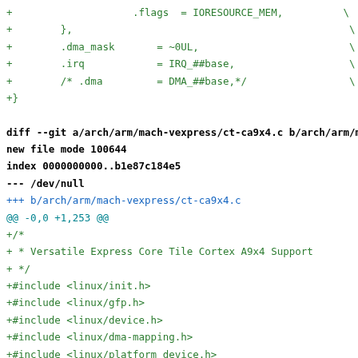Code diff showing git patch for arch/arm/mach-vexpress/ct-ca9x4.c with new file additions including linux headers